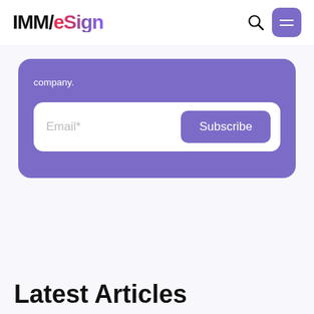IMM/eSign
company.
[Figure (screenshot): Email subscription form with Email* input field and Subscribe button on purple background]
Latest Articles